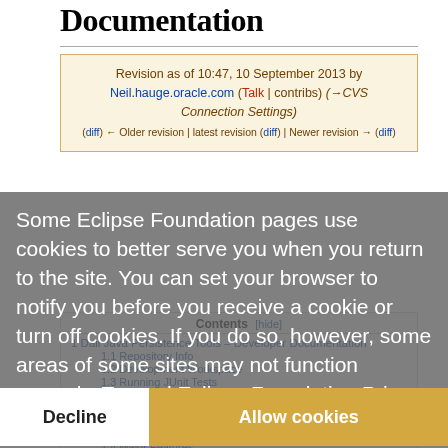Documentation
Revision as of 10:47, 10 September 2013 by Neil.hauge.oracle.com (Talk | contribs) (→CVS Connection Settings)
(diff) ← Older revision | latest revision (diff) | Newer revision → (diff)
Some Eclipse Foundation pages use cookies to better serve you when you return to the site. You can set your browser to notify you before you receive a cookie or turn off cookies. If you do so, however, some areas of some sites may not function properly. To read Eclipse Foundation Privacy Policy click here.
Decline   Allow cookies
Contents [hide]
1 Dali Java Persistence Tools – Developer Documentation
1.1 Repository Info
1.2 Development Workspace
1.3 Running JUnit Tests
1.3.1 JptCoreTests
1.3.2 JptEclipseLinkCoreTests
1.3.3 JaxbCoreTests
1.3.4 JptUtilityTests
1.4 Major Features